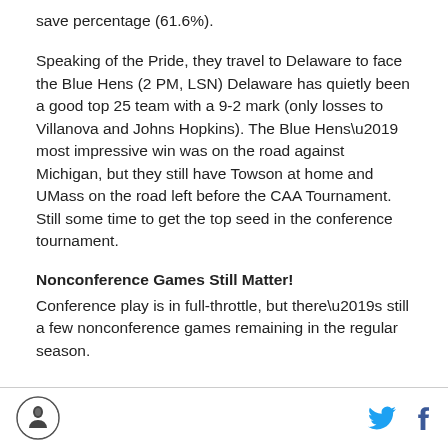save percentage (61.6%).
Speaking of the Pride, they travel to Delaware to face the Blue Hens (2 PM, LSN) Delaware has quietly been a good top 25 team with a 9-2 mark (only losses to Villanova and Johns Hopkins). The Blue Hens’ most impressive win was on the road against Michigan, but they still have Towson at home and UMass on the road left before the CAA Tournament. Still some time to get the top seed in the conference tournament.
Nonconference Games Still Matter!
Conference play is in full-throttle, but there’s still a few nonconference games remaining in the regular season.